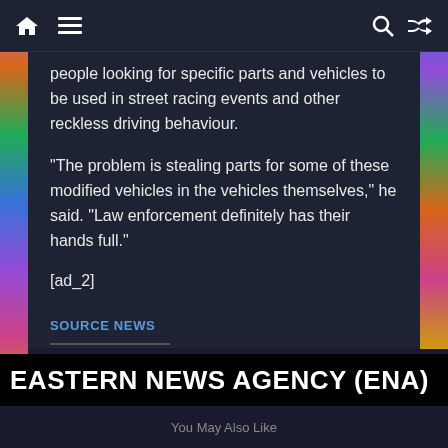Navigation bar with home, menu, search, and shuffle icons
people looking for specific parts and vehicles to be used in street racing events and other reckless driving behaviour.
“The problem is stealing parts for some of these modified vehicles in the vehicles themselves,” he said. “Law enforcement definitely has their hands full.”
[ad_2]
SOURCE NEWS
Share this:
Tweet
EASTERN NEWS AGENCY (ENA)
You May Also Like